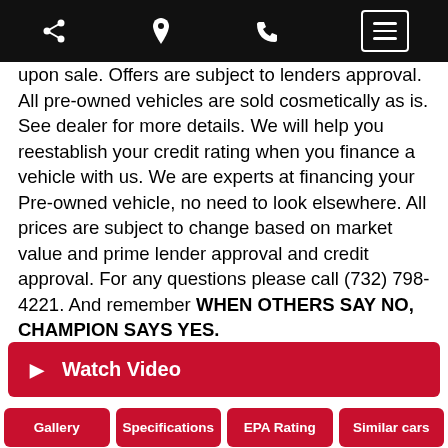[navigation bar with share, location, phone, and menu icons]
upon sale. Offers are subject to lenders approval. All pre-owned vehicles are sold cosmetically as is. See dealer for more details. We will help you reestablish your credit rating when you finance a vehicle with us. We are experts at financing your Pre-owned vehicle, no need to look elsewhere. All prices are subject to change based on market value and prime lender approval and credit approval. For any questions please call (732) 798-4221. And remember WHEN OTHERS SAY NO, CHAMPION SAYS YES.
Watch Video
Gallery
Specifications
EPA Rating
Similar cars
Pictures of used 2016 Dodge Charger 4dr Sdn SRT 392 RWD in Hillside, NJ